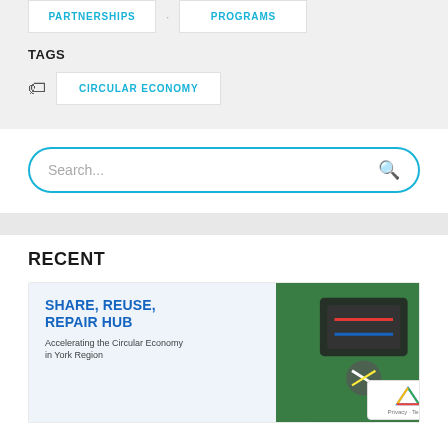PARTNERSHIPS
PROGRAMS
TAGS
CIRCULAR ECONOMY
Search...
RECENT
[Figure (screenshot): Card preview showing 'SHARE, REUSE, REPAIR HUB' with subtitle 'Accelerating the Circular Economy in York Region' alongside a photo of hands repairing electronics]
Privacy · Terms